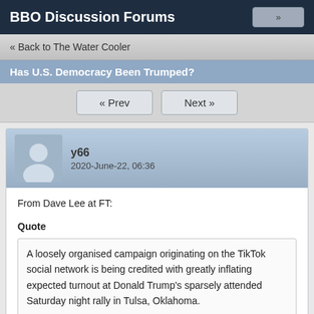BBO Discussion Forums
« Back to The Water Cooler
Has U.S. Democracy Been Trumped?
« Prev   Next »
y66
2020-June-22, 06:36
From Dave Lee at FT:
Quote
A loosely organised campaign originating on the TikTok social network is being credited with greatly inflating expected turnout at Donald Trump's sparsely attended Saturday night rally in Tulsa, Oklahoma.

Teens on the platform for sharing short videos and other social media sites shared posts over the past two weeks calling for people to sign up for a ticket to Mr Trump's event, but then not show up.